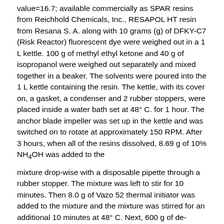value=16.7; available commercially as SPAR resins from Reichhold Chemicals, Inc., RESAPOL HT resin from Resana S. A. along with 10 grams (g) of DFKY-C7 (Risk Reactor) fluorescent dye were weighed out in a 1 L kettle. 100 g of methyl ethyl ketone and 40 g of isopropanol were weighed out separately and mixed together in a beaker. The solvents were poured into the 1 L kettle containing the resin. The kettle, with its cover on, a gasket, a condenser and 2 rubber stoppers, were placed inside a water bath set at 48° C. for 1 hour. The anchor blade impeller was set up in the kettle and was switched on to rotate at approximately 150 RPM. After 3 hours, when all of the resins dissolved, 8.69 g of 10% NH4OH was added to the
mixture drop-wise with a disposable pipette through a rubber stopper. The mixture was left to stir for 10 minutes. Then 8.0 g of Vazo 52 thermal initiator was added to the mixture and the mixture was stirred for an additional 10 minutes at 48° C. Next, 600 g of de-ionized water was to be added into the kettle by a pump through a rubber stopper. The first 400 g were added in 90 minutes with the pump set to a rate of 4.44 g/min. The last 200 g were added in 30 minutes with the pump set to 6.7 g/min. The apparatus